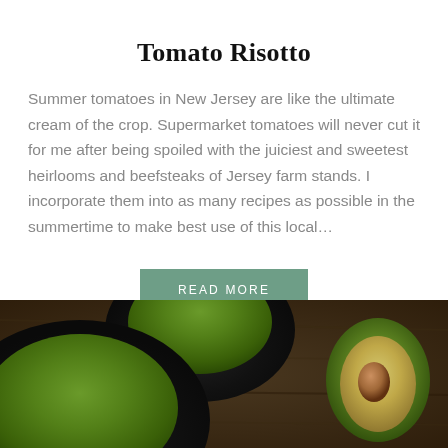Tomato Risotto
Summer tomatoes in New Jersey are like the ultimate cream of the crop. Supermarket tomatoes will never cut it for me after being spoiled with the juiciest and sweetest heirlooms and beefsteaks of Jersey farm stands. I incorporate them into as many recipes as possible in the summertime to make best use of this local...
READ MORE
[Figure (photo): Food photography showing black bowls filled with bright green soup/puree, with a halved avocado on a wooden cutting board in the background]